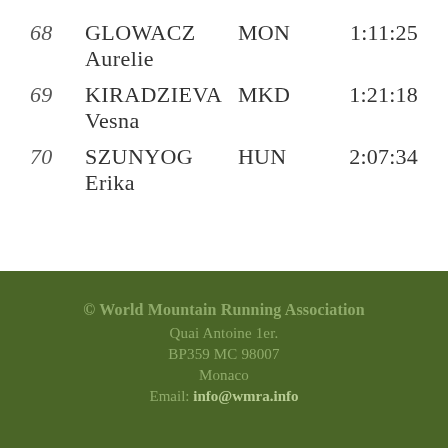| Rank | Name | Country | Time |
| --- | --- | --- | --- |
| 68 | GLOWACZ Aurelie | MON | 1:11:25 |
| 69 | KIRADZIEVA Vesna | MKD | 1:21:18 |
| 70 | SZUNYOG Erika | HUN | 2:07:34 |
© World Mountain Running Association
Quai Antoine 1er.
BP359 MC 98007
Monaco
Email: info@wmra.info
Tweets von @WMRAmountainrun